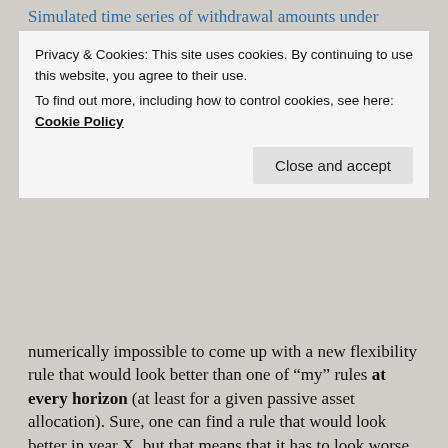Simulated time series of withdrawal amounts under different
Privacy & Cookies: This site uses cookies. By continuing to use this website, you agree to their use.
To find out more, including how to control cookies, see here: Cookie Policy
numerically impossible to come up with a new flexibility rule that would look better than one of “my” rules at every horizon (at least for a given passive asset allocation). Sure, one can find a rule that would look better in year X, but that means that it has to look worse in year Y. You already see some of this “squeezing a balloon” business in the rules I presented: The inflation rule does a better job at not dropping too drastically during the early part of retirement, in contrast to the back to work guardrail scheme or a VPW where you drop the withdrawals substantially during the first half of retirement. But then in the second half of